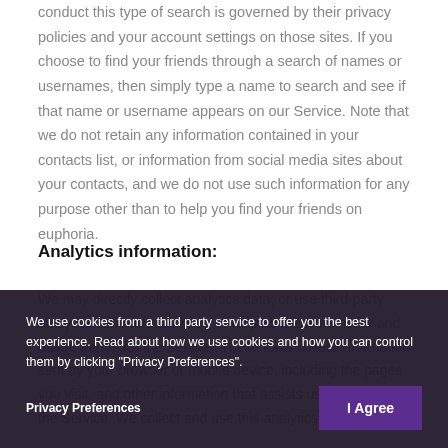conduct this type of search is governed by their privacy policies and your account settings on those sites. If you choose to find your friends through a search of names or usernames, then simply type a name to search and see if that name or username appears on our Service. Note that we do not retain any information contained in your contacts list, or information from social media sites about your contacts, and we do not use such information for any purpose other than to help you find your friends on euphoria.
Analytics information:
We may directly collect analytics data, or use third-party analytics tools and services, to help us measure traffic and usage trends for the Service. These tools collect information sent by your browser or mobile device, including the pages you visit, and other information that assists us in improving the Service. We collect and use this analytics information...
We use cookies from a third party service to offer you the best experience. Read about how we use cookies and how you can control them by clicking "Privacy Preferences".